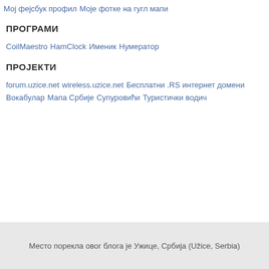Мој фејсбук профил
Моје фотке на гугл мапи
ПРОГРАМИ
CoilMaestro
HamClock
Именик
Нумератор
ПРОЈЕКТИ
forum.uzice.net
wireless.uzice.net
Бесплатни .RS интернет домени
Вокабулар
Мапа Србије
Супуровићи
Туристички водич
Место порекла овог блога је Ужице, Србија (Užice, Serbia)